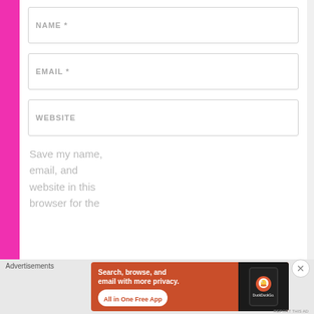NAME *
EMAIL *
WEBSITE
Save my name, email, and website in this browser for the
Advertisements
[Figure (screenshot): DuckDuckGo advertisement banner: orange background with text 'Search, browse, and email with more privacy. All in One Free App' alongside a phone showing the DuckDuckGo logo]